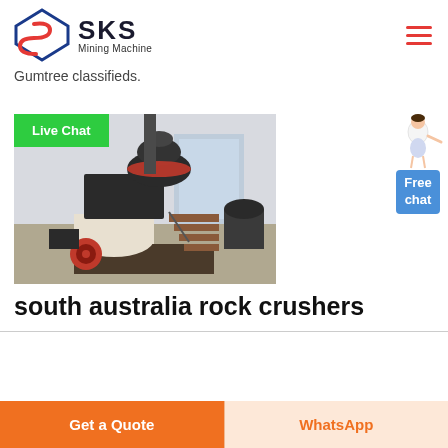[Figure (logo): SKS Mining Machine logo with diamond S icon and company name]
Gumtree classifieds.
[Figure (photo): Industrial cone crusher / mining machine in a warehouse setting, with red wheel and stairs]
south australia rock crushers
Get a Quote
WhatsApp